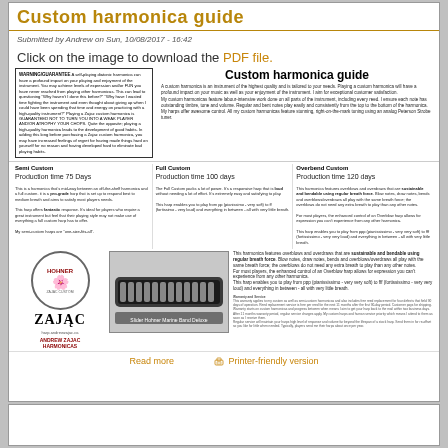Custom harmonica guide
Submitted by Andrew on Sun, 10/08/2017 - 16:42
Click on the image to download the PDF file.
WARNING/GUARANTEE A self-playing diatonic harmonica can have a profound impact on your playing and enjoyment of the instrument...
Custom harmonica guide
A custom harmonica is an instrument of the highest quality and is tailored to your needs. Playing a custom harmonica will have a profound impact on your music as well as your enjoyment of the instrument. I aim for exceptional customer satisfaction. My custom harmonicas feature labour-intensive work done on all parts of the instrument, including every reed...
Semi Custom
Production time 75 Days
This is a harmonica that's mid-way between an off-the-shelf harmonica and a full custom. it is a pro-grade harp that is set up to respond best to medium breath and aims to satisfy most players needs.
Full Custom
Production time 100 days
The Full Custom packs a lot of power. It's a responsive harp that is loud without needing a lot of effort. It's extremely easy and satisfying to play.
Overbend Custom
Production time 120 days
This harmonica features overblows and overdraws that are sustainable and bendable using regular breath force.
[Figure (photo): Hohner Marine Band Deluxe harmonica photo and Andrew Zajac Harmonicas logo]
Slider Hohner Marine Band Deluxe
Read more
Printer-friendly version